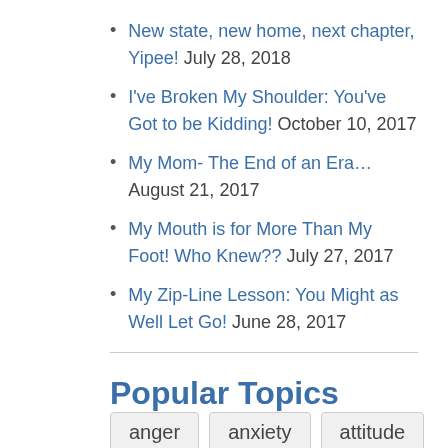New state, new home, next chapter, Yipee! July 28, 2018
I've Broken My Shoulder: You've Got to be Kidding! October 10, 2017
My Mom- The End of an Era… August 21, 2017
My Mouth is for More Than My Foot! Who Knew?? July 27, 2017
My Zip-Line Lesson: You Might as Well Let Go! June 28, 2017
Popular Topics
anger   anxiety   attitude